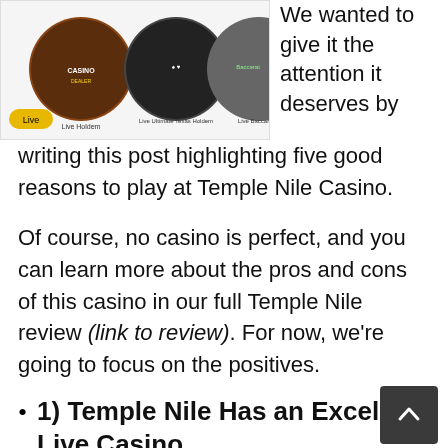[Figure (screenshot): Screenshot of Temple Nile Casino live dealer games showing three circular game thumbnails: Live Holdem, Live Ultimate Texas Holdem, and Live Baccarat, with a yellow 'Live' button]
We wanted to give it the attention it deserves by writing this post highlighting five good reasons to play at Temple Nile Casino.
Of course, no casino is perfect, and you can learn more about the pros and cons of this casino in our full Temple Nile review (link to review). For now, we're going to focus on the positives.
1) Temple Nile Has an Excellent Live Casino
We're most interested in live dealer games, and so it's probably not a surprise to our regular readers that we focus on the Temple Nile live casino games